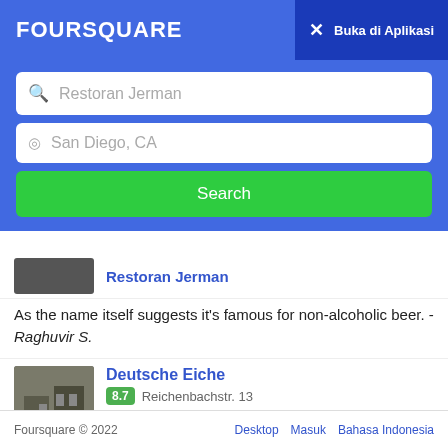FOURSQUARE
Buka di Aplikasi
Restoran Jerman
San Diego, CA
Search
Restoran Jerman
As the name itself suggests it's famous for non-alcoholic beer. - Raghuvir S.
Deutsche Eiche 8.7 Reichenbachstr. 13 Restoran Jerman
schnitzel mittwoch für 6,50 euro zum mittag. natur oder paniert. verschiedene sossen. mit pommes oder salat. lecker. unschlagbar. - Andrea W.
Foursquare © 2022   Desktop   Masuk   Bahasa Indonesia